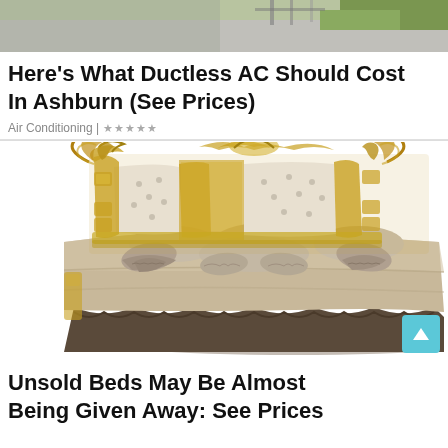[Figure (photo): Top portion of outdoor image, possibly showing a pool or patio area with greenery]
Here's What Ductless AC Should Cost In Ashburn (See Prices)
Air Conditioning | ★★★★★
[Figure (photo): Ornate luxury bed with gold baroque-style headboard and tufted upholstery, beige/tan bedding with decorative pillows]
Unsold Beds May Be Almost Being Given Away: See Prices